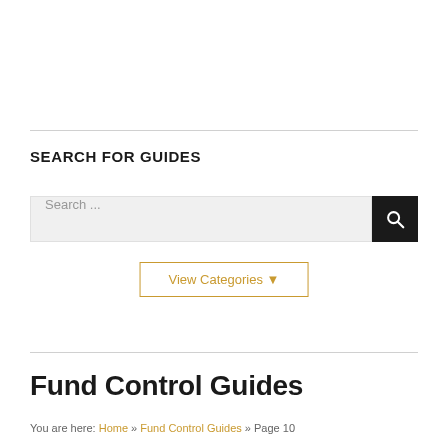SEARCH FOR GUIDES
Search ...
View Categories ▼
Fund Control Guides
You are here: Home » Fund Control Guides » Page 10